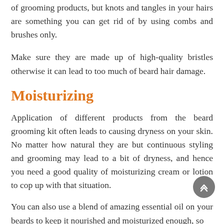of grooming products, but knots and tangles in your hairs are something you can get rid of by using combs and brushes only.
Make sure they are made up of high-quality bristles otherwise it can lead to too much of beard hair damage.
Moisturizing
Application of different products from the beard grooming kit often leads to causing dryness on your skin. No matter how natural they are but continuous styling and grooming may lead to a bit of dryness, and hence you need a good quality of moisturizing cream or lotion to cop up with that situation.
You can also use a blend of amazing essential oil on your beards to keep it nourished and moisturized enough, so